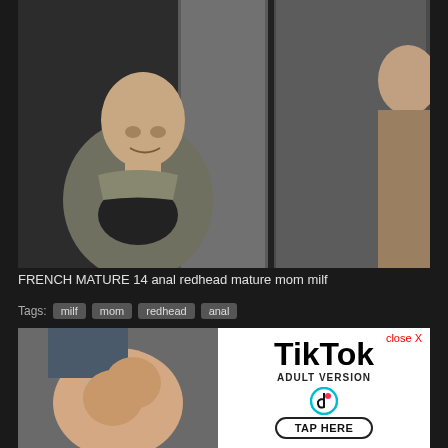[Figure (photo): Video thumbnail showing a bald man in a gray hoodie standing in front of metallic elevator doors, with another person partially visible on the right]
FRENCH MATURE 14 anal redhead mature mom milf
Tags: milf mom redhead anal
[Figure (photo): Advertisement bottom section: left half shows a partial photo, right half shows a TikTok Adult Version advertisement with 'close X' button and 'TAP HERE' button]